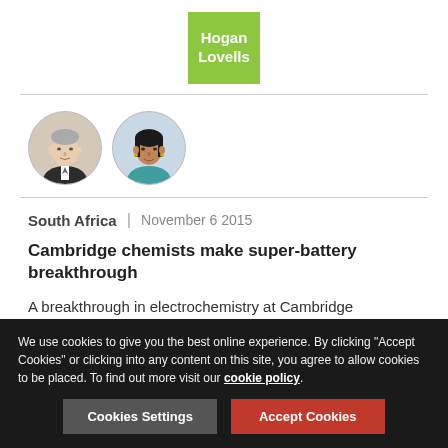[Figure (logo): Hogan Lovells logo — yellow-green square with white text 'Hogan Lovells']
[Figure (photo): Two circular author profile photos side by side — an older white male and a woman of South Asian appearance]
South Africa | November 6 2015
Cambridge chemists make super-battery breakthrough
A breakthrough in electrochemistry at Cambridge University could lead the way to rechargeable super-batteries that pack five times more energy into a given space than today's best batteries.
We use cookies to give you the best online experience. By clicking "Accept Cookies" or clicking into any content on this site, you agree to allow cookies to be placed. To find out more visit our cookie policy.